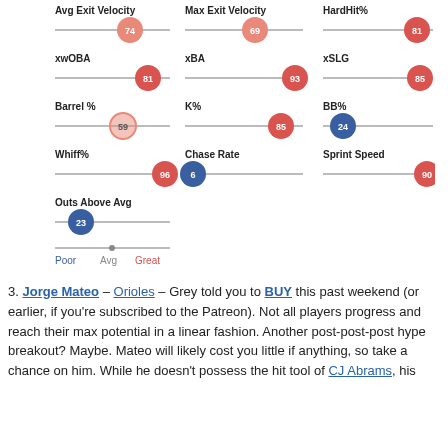[Figure (infographic): Grid of 10 slider/gauge widgets showing player percentile scores for: Avg Exit Velocity (74, pink), Max Exit Velocity (69, pink), HardHit% (81, red), xwOBA (81, red), xBA (93, red), xSLG (85, red), Barrel% (59, pink), K% (85, red), BB% (24, blue), Whiff% (96, red), Chase Rate (6, blue), Sprint Speed (90, red), Outs Above Avg (23, blue). Legend shows Poor (blue) / Avg (grey) / Great (red).]
3. Jorge Mateo – Orioles – Grey told you to BUY this past weekend (or earlier, if you're subscribed to the Patreon). Not all players progress and reach their max potential in a linear fashion. Another post-post-post hype breakout? Maybe. Mateo will likely cost you little if anything, so take a chance on him. While he doesn't possess the hit tool of CJ Abrams, his